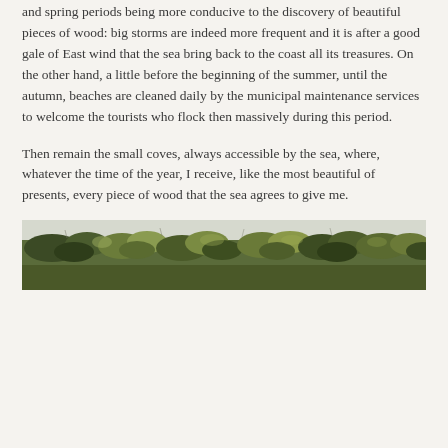and spring periods being more conducive to the discovery of beautiful pieces of wood: big storms are indeed more frequent and it is after a good gale of East wind that the sea bring back to the coast all its treasures. On the other hand, a little before the beginning of the summer, until the autumn, beaches are cleaned daily by the municipal maintenance services to welcome the tourists who flock then massively during this period.
Then remain the small coves, always accessible by the sea, where, whatever the time of the year, I receive, like the most beautiful of presents, every piece of wood that the sea agrees to give me.
[Figure (photo): A wide panoramic photograph of a coastal scrubland or dune vegetation — dense low green shrubs and bushes stretching across the full width, with a pale sky above.]